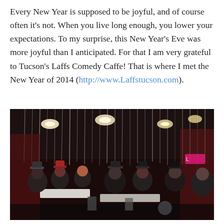Every New Year is supposed to be joyful, and of course often it's not. When you live long enough, you lower your expectations. To my surprise, this New Year's Eve was more joyful than I anticipated. For that I am very grateful to Tucson's Laffs Comedy Caffe! That is where I met the New Year of 2014 (http://www.Laffstucson.com).
[Figure (photo): Indoor photo of a comedy club on New Year's Eve. People are seated at tables wearing festive hats. The venue has hanging silver/metallic streamers from the ceiling and overhead lights. The atmosphere is dark and celebratory.]